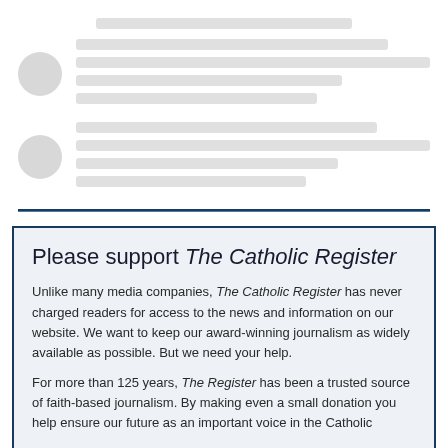[Figure (illustration): Skeleton loader placeholder with two rows, each having a circular avatar on the left and multiple grey horizontal lines representing loading content, plus a single centered top line above.]
Please support The Catholic Register
Unlike many media companies, The Catholic Register has never charged readers for access to the news and information on our website. We want to keep our award-winning journalism as widely available as possible. But we need your help.
For more than 125 years, The Register has been a trusted source of faith-based journalism. By making even a small donation you help ensure our future as an important voice in the Catholic